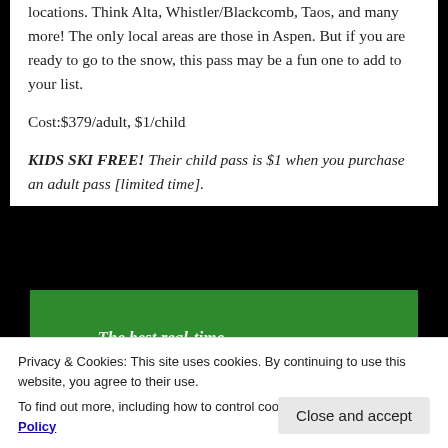locations. Think Alta, Whistler/Blackcomb, Taos, and many more! The only local areas are those in Aspen. But if you are ready to go to the snow, this pass may be a fun one to add to your list.
Cost:$379/adult, $1/child
KIDS SKI FREE! Their child pass is $1 when you purchase an adult pass [limited time].
[Figure (advertisement): Green banner advertisement for WordPress backup plugin with white bold text reading 'WordPress backup plugin']
Privacy & Cookies: This site uses cookies. By continuing to use this website, you agree to their use.
To find out more, including how to control cookies, see here: Cookie Policy